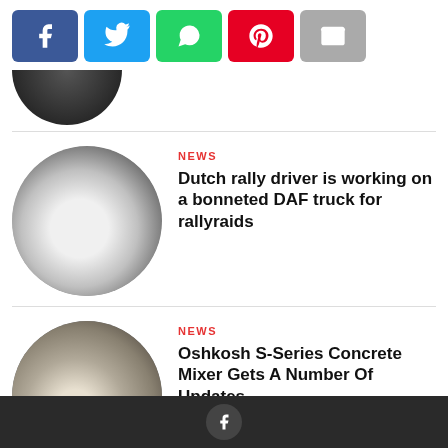[Figure (other): Social sharing buttons: Facebook (blue), Twitter (light blue), WhatsApp (green), Pinterest (red), Email (gray)]
[Figure (photo): Partial circular thumbnail of a dark-colored vehicle, cropped at top]
NEWS
Dutch rally driver is working on a bonneted DAF truck for rallyraids
[Figure (photo): Partial circular thumbnail of an Oshkosh S-Series Concrete Mixer truck]
NEWS
Oshkosh S-Series Concrete Mixer Gets A Number Of Updates